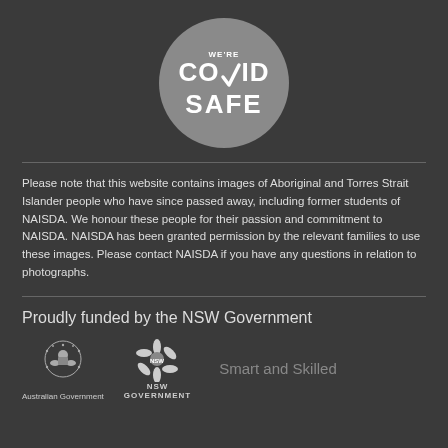[Figure (logo): We're COVID SAFE circular badge with checkmark, grey circle, white bold text]
Please note that this website contains images of Aboriginal and Torres Strait Islander people who have since passed away, including former students of NAISDA. We honour these people for their passion and commitment to NAISDA. NAISDA has been granted permission by the relevant families to use these images. Please contact NAISDA if you have any questions in relation to photographs.
Proudly funded by the NSW Government
[Figure (logo): Australian Government crest logo with text 'Australian Government' below]
[Figure (logo): NSW Government waratah logo with text 'NSW GOVERNMENT' below]
Smart and Skilled